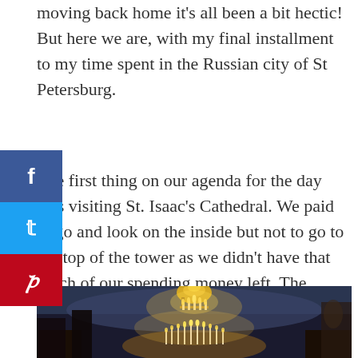moving back home it's all been a bit hectic! But here we are, with my final installment to my time spent in the Russian city of St Petersburg.
The first thing on our agenda for the day was visiting St. Isaac's Cathedral. We paid to go and look on the inside but not to go to the top of the tower as we didn't have that much of our spending money left. The interior was very impressive and much more traditional looking than the Church on the Spilled Blood.
[Figure (photo): Interior of St. Isaac's Cathedral showing ornate golden chandeliers with candles lit, elaborate ceiling frescoes and murals in blue tones, and gilded architectural details]